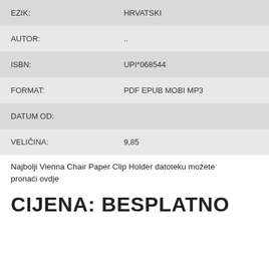| Label | Value |
| --- | --- |
| EZIK: | HRVATSKI |
| AUTOR: | .. |
| ISBN: | UPI*068544 |
| FORMAT: | PDF EPUB MOBI MP3 |
| DATUM OD: |  |
| VELIČINA: | 9,85 |
Najbolji Vienna Chair Paper Clip Holder datoteku možete pronaći ovdje
CIJENA: BESPLATNO